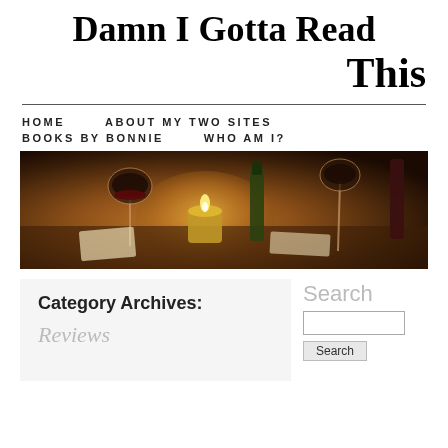Damn I Gotta Read This
HOME   ABOUT MY TWO SITES   BOOKS BY BONNIE   WHO AM I?
[Figure (photo): A restaurant table setting with wine glasses, a candle, and bottles in warm amber lighting]
Category Archives:
Reviews
Search